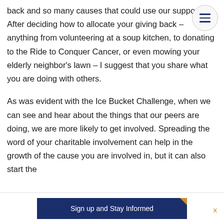back and so many causes that could use our support. After deciding how to allocate your giving back – anything from volunteering at a soup kitchen, to donating to the Ride to Conquer Cancer, or even mowing your elderly neighbor's lawn – I suggest that you share what you are doing with others.
As was evident with the Ice Bucket Challenge, when we can see and hear about the things that our peers are doing, we are more likely to get involved. Spreading the word of your charitable involvement can help in the growth of the cause you are involved in, but it can also start the
[Figure (other): Hamburger menu button (three horizontal lines) in a circular outline, positioned top-right]
Sign up and Stay Informed